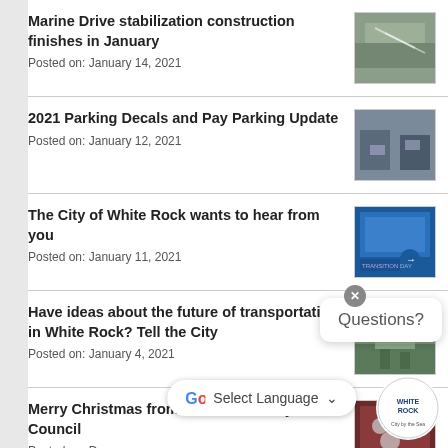Marine Drive stabilization construction finishes in January
Posted on: January 14, 2021
2021 Parking Decals and Pay Parking Update
Posted on: January 12, 2021
The City of White Rock wants to hear from you
Posted on: January 11, 2021
Have ideas about the future of transportation in White Rock? Tell the City
Posted on: January 4, 2021
Merry Christmas from White Rock City Council
Posted on: Dec...
White Rock is...
[Figure (screenshot): Questions? chat bubble overlay]
[Figure (screenshot): Google Select Language translate widget overlay]
[Figure (logo): White Rock City by the Sea logo]